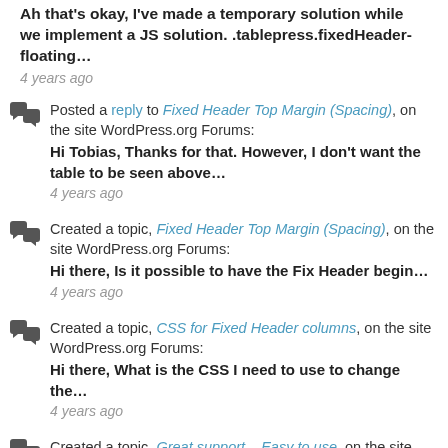Ah that's okay, I've made a temporary solution while we implement a JS solution. .tablepress.fixedHeader-floating…
4 years ago
Posted a reply to Fixed Header Top Margin (Spacing), on the site WordPress.org Forums: Hi Tobias, Thanks for that. However, I don't want the table to be seen above…
4 years ago
Created a topic, Fixed Header Top Margin (Spacing), on the site WordPress.org Forums: Hi there, Is it possible to have the Fix Header begin…
4 years ago
Created a topic, CSS for Fixed Header columns, on the site WordPress.org Forums: Hi there, What is the CSS I need to use to change the…
4 years ago
Created a topic, Great support – Easy to use, on the site WordPress.org Forums: Great support - Easy to use